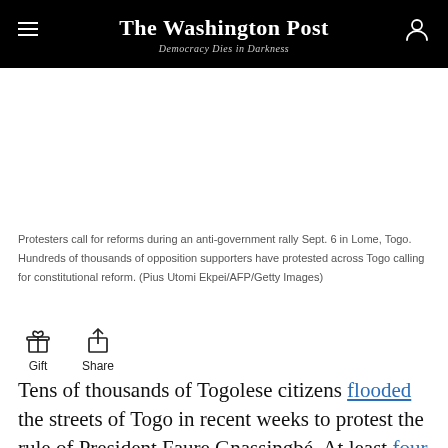The Washington Post — Democracy Dies in Darkness
[Figure (photo): Blank/white image area placeholder for a photo of protesters at an anti-government rally in Lome, Togo on Sept. 6]
Protesters call for reforms during an anti-government rally Sept. 6 in Lome, Togo. Hundreds of thousands of opposition supporters have protested across Togo calling for constitutional reform. (Pius Utomi Ekpei/AFP/Getty Images)
Gift   Share
Tens of thousands of Togolese citizens flooded the streets of Togo in recent weeks to protest the rule of President Faure Gnassingbé. At least four people have